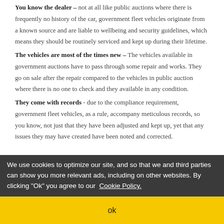You know the dealer – not at all like public auctions where there is frequently no history of the car, government fleet vehicles originate from a known source and are liable to wellbeing and security guidelines, which means they should be routinely serviced and kept up during their lifetime.
The vehicles are most of the times new – The vehicles available in government auctions have to pass through some repair and works. They go on sale after the repair compared to the vehicles in public auction where there is no one to check and they available in any condition.
They come with records - due to the compliance requirement, government fleet vehicles, as a rule, accompany meticulous records, so you know, not just that they have been adjusted and kept up, yet that any issues they may have created have been noted and corrected.
We use cookies to optimize our site, and so that we and third parties can show you more relevant ads, including on other websites. By clicking "Ok" you agree to our Cookie Policy.